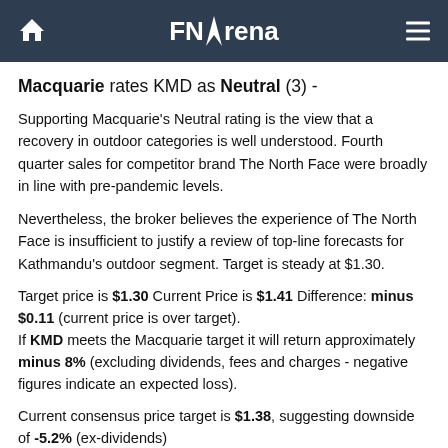FNArena
Macquarie rates KMD as Neutral (3) -
Supporting Macquarie's Neutral rating is the view that a recovery in outdoor categories is well understood. Fourth quarter sales for competitor brand The North Face were broadly in line with pre-pandemic levels.
Nevertheless, the broker believes the experience of The North Face is insufficient to justify a review of top-line forecasts for Kathmandu's outdoor segment. Target is steady at $1.30.
Target price is $1.30 Current Price is $1.41 Difference: minus $0.11 (current price is over target). If KMD meets the Macquarie target it will return approximately minus 8% (excluding dividends, fees and charges - negative figures indicate an expected loss).
Current consensus price target is $1.38, suggesting downside of -5.2% (ex-dividends)
The company's fiscal year ends in July.
Forecast for FY21:
Macquarie forecasts a full year FY21 dividend of 5.59 cents and